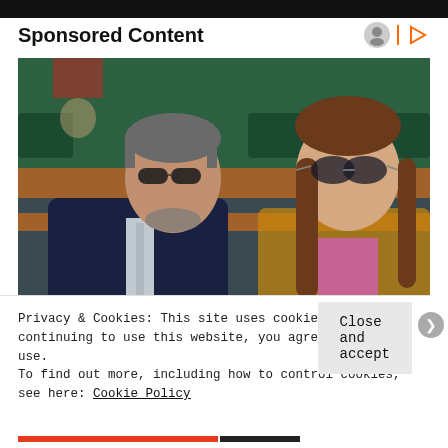Sponsored Content
[Figure (photo): Two people sitting in stadium seating. On the left, a middle-aged man with grey-streaked hair and sunglasses wearing a dark navy suit with a light grey tie. On the right, a young woman with long brown hair wearing aviator sunglasses. The background shows green stadium seats and wooden chair backs.]
Privacy & Cookies: This site uses cookies. By continuing to use this website, you agree to their use.
To find out more, including how to control cookies, see here: Cookie Policy
Close and accept